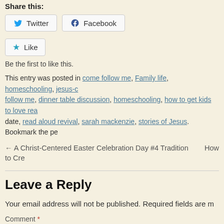Share this:
Twitter  Facebook
Like  Be the first to like this.
This entry was posted in come follow me, Family life, homeschooling, jesus-c... follow me, dinner table discussion, homeschooling, how to get kids to love rea... date, read aloud revival, sarah mackenzie, stories of Jesus. Bookmark the pe...
← A Christ-Centered Easter Celebration Day #4 Tradition    How to Cre...
Leave a Reply
Your email address will not be published. Required fields are m...
Comment *